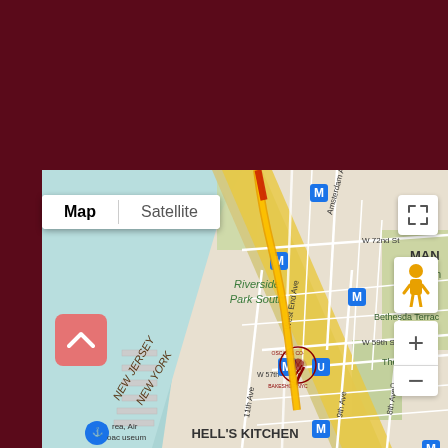[Figure (map): Google Maps screenshot showing Manhattan, New York near Hell's Kitchen and Riverside Park South area. Shows Hudson River on the left with New Jersey/New York state boundary, West End Ave, Amsterdam Ave, W 72nd St, W 59th St, W 57th St, 9th Ave, 8th Ave, 11th Ave visible. Map/Satellite toggle at top left, fullscreen button top right, pegman and zoom controls on right side. A custom bakery marker (OSCAR & CO. BAKESHOP NYC) is pinned on the map near W 57th St. Metro (M) stations marked in blue squares. Hell's Kitchen label at bottom. Intrepid Sea, Air & Space Museum marker at bottom left.]